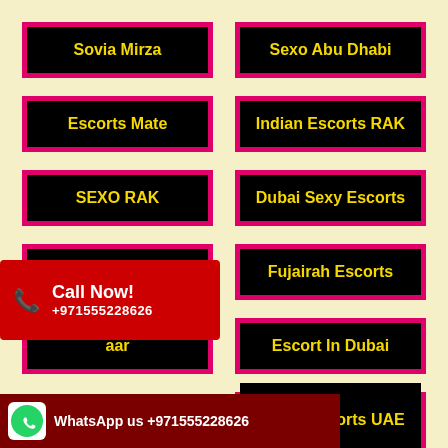Sovia Mirza
Sexo Abu Dhabi
Escorts Mate
Indian Escorts RAK
SEXO RAK
Dubai Sexy Escorts
Call Girl Dubai
Fujairah Escorts
...aar
Escort In Dubai
Call Now! +971555228626
WhatsApp us +971555228626
Indian Escorts UAE